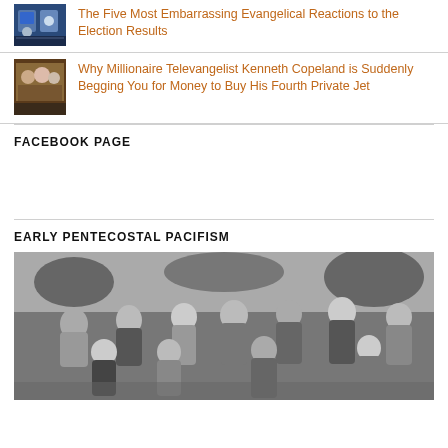[Figure (photo): Thumbnail image of two people on a TV show set]
The Five Most Embarrassing Evangelical Reactions to the Election Results
[Figure (photo): Thumbnail image of people at a dinner table]
Why Millionaire Televangelist Kenneth Copeland is Suddenly Begging You for Money to Buy His Fourth Private Jet
FACEBOOK PAGE
EARLY PENTECOSTAL PACIFISM
[Figure (photo): Black and white historical group photo of approximately 12 people]